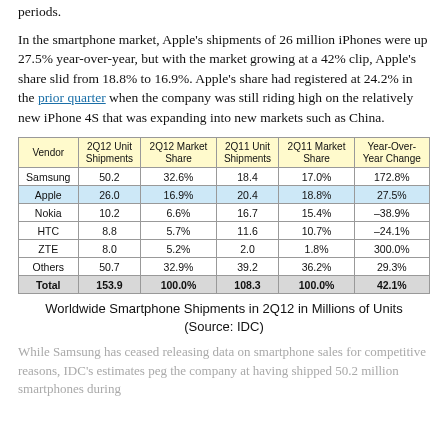periods.
In the smartphone market, Apple's shipments of 26 million iPhones were up 27.5% year-over-year, but with the market growing at a 42% clip, Apple's share slid from 18.8% to 16.9%. Apple's share had registered at 24.2% in the prior quarter when the company was still riding high on the relatively new iPhone 4S that was expanding into new markets such as China.
| Vendor | 2Q12 Unit Shipments | 2Q12 Market Share | 2Q11 Unit Shipments | 2Q11 Market Share | Year-Over-Year Change |
| --- | --- | --- | --- | --- | --- |
| Samsung | 50.2 | 32.6% | 18.4 | 17.0% | 172.8% |
| Apple | 26.0 | 16.9% | 20.4 | 18.8% | 27.5% |
| Nokia | 10.2 | 6.6% | 16.7 | 15.4% | –38.9% |
| HTC | 8.8 | 5.7% | 11.6 | 10.7% | –24.1% |
| ZTE | 8.0 | 5.2% | 2.0 | 1.8% | 300.0% |
| Others | 50.7 | 32.9% | 39.2 | 36.2% | 29.3% |
| Total | 153.9 | 100.0% | 108.3 | 100.0% | 42.1% |
Worldwide Smartphone Shipments in 2Q12 in Millions of Units (Source: IDC)
While Samsung has ceased releasing data on smartphone sales for competitive reasons, IDC's estimates peg the company at having shipped 50.2 million smartphones during